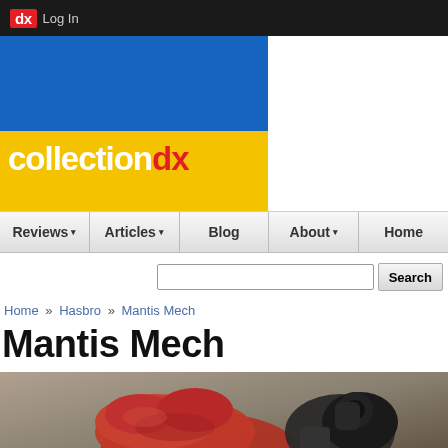dx Log In
[Figure (logo): CollectionDX logo with blue and yellow background blocks and white/red text]
Reviews ▾  Articles ▾  Blog  About ▾  Home
Search
Home » Hasbro » Mantis Mech
Mantis Mech
[Figure (photo): Photo of Mantis Mech toy, showing red and dark grey/black mech parts against a grey background]